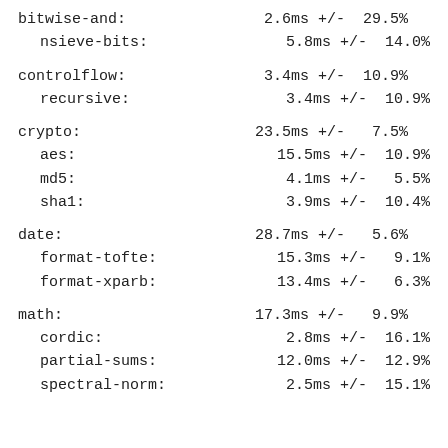bitwise-and:    2.6ms +/-  29.5%
nsieve-bits:  5.8ms +/-  14.0%
controlflow:    3.4ms +/-  10.9%
recursive:    3.4ms +/-  10.9%
crypto:        23.5ms +/-   7.5%
aes:         15.5ms +/-  10.9%
md5:          4.1ms +/-   5.5%
sha1:         3.9ms +/-  10.4%
date:          28.7ms +/-   5.6%
format-tofte: 15.3ms +/-   9.1%
format-xparb: 13.4ms +/-   6.3%
math:          17.3ms +/-   9.9%
cordic:       2.8ms +/-  16.1%
partial-sums: 12.0ms +/-  12.9%
spectral-norm: 2.5ms +/-  15.1%